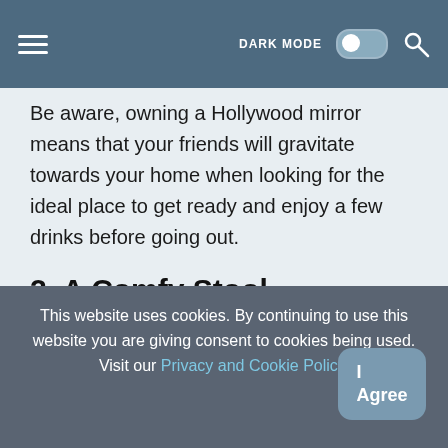DARK MODE toggle, search icon, hamburger menu
Be aware, owning a Hollywood mirror means that your friends will gravitate towards your home when looking for the ideal place to get ready and enjoy a few drinks before going out.
2. A Comfy Stool
This website uses cookies. By continuing to use this website you are giving consent to cookies being used. Visit our Privacy and Cookie Policy.